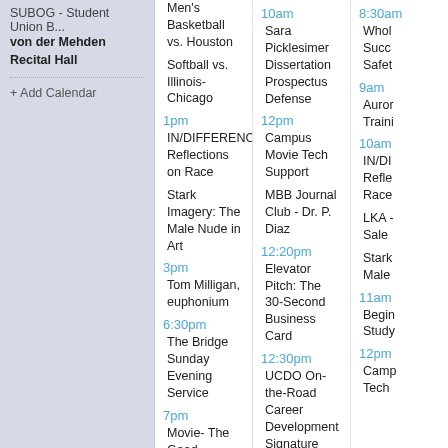SUBOG - Student Union B... von der Mehden Recital Hall
+ Add Calendar
1pm - IN/DIFFERENCE: Reflections on Race
1pm - Stark Imagery: The Male Nude in Art
3pm - Tom Milligan, euphonium
6:30pm - The Bridge Sunday Evening Service
7pm - Movie- The Good Dinosaur
10am - Sara Picklesimer Dissertation Prospectus Defense
12pm - Campus Movie Tech Support
12pm - MBB Journal Club - Dr. P. Diaz
12:20pm - Elevator Pitch: The 30-Second Business Card
12:30pm - UCDO On-the-Road Career Development Signature Series
1pm - Veritas MBA Internship Virtual Career Fair
8:30am - Whole... Succ... Safety...
9am - Aurora Training
10am - IN/DI... Refle... Race
10am - LKA - Sale
10am - Stark Male
11am - Begin... Study...
12pm - Camp Tech